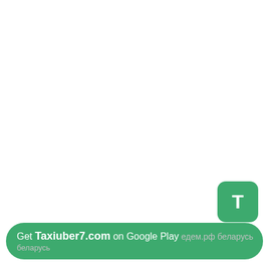[Figure (logo): Green rounded square app icon with white letter T]
Get Taxiuber7.com on Google Play едем.рф беларусь беларусь